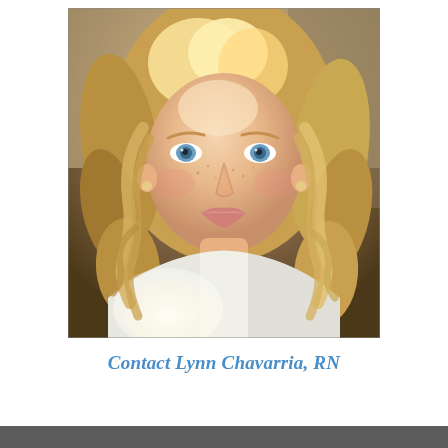[Figure (photo): Headshot portrait of a woman with curly blonde hair and blue eyes, wearing a white top, smiling slightly, photographed outdoors in bright sunlight.]
Contact Lynn Chavarria, RN